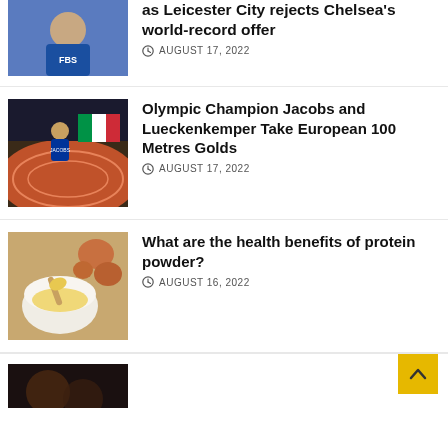[Figure (photo): Soccer player in blue FBS jersey with arms raised]
as Leicester City rejects Chelsea's world-record offer
AUGUST 17, 2022
[Figure (photo): Athlete holding Italian flag on running track, celebrating]
Olympic Champion Jacobs and Lueckenkemper Take European 100 Metres Golds
AUGUST 17, 2022
[Figure (photo): Bowl of yellow protein powder with eggs on wooden surface]
What are the health benefits of protein powder?
AUGUST 16, 2022
[Figure (photo): Partial image of athlete at bottom of page]